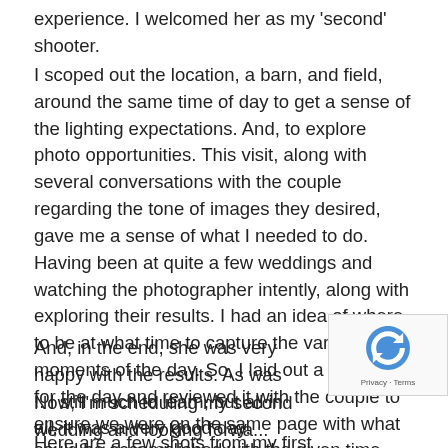experience. I welcomed her as my 'second' shooter.
I scoped out the location, a barn, and field, around the same time of day to get a sense of the lighting expectations. And, to explore photo opportunities. This visit, along with several conversations with the couple regarding the tone of images they desired, gave me a sense of what I needed to do. Having been at quite a few weddings and watching the photographer intently, along with exploring their results. I had an idea of where to be at what time to capture the various moments of the day. So, I laid out a timeline for the day and reviewed it with the couple to ensure we were on the same page with what could be accomplished with the given time. And, I could not have asked for a better bride! She was so totally on top of the logistics of the day and able to both coordinate others and enjoy the moment. She was incredible!
And, in the end, she was very happy with the results. As was I. I still much to learn, but all in all, it was a very good day.
Now, I'm scheduling my second wedding and looking forwa...
Here are a few shots from my first